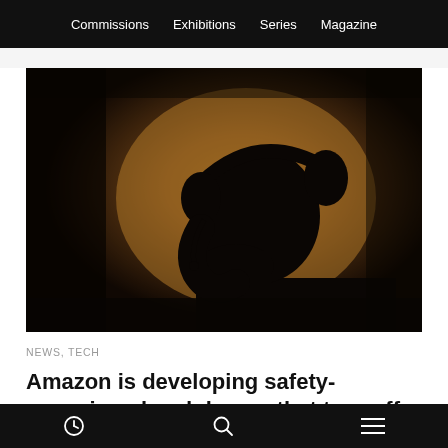Commissions   Exhibitions   Series   Magazine
[Figure (photo): Silhouette of a person wearing over-ear headphones against a warm amber/brown background, viewed from the side in profile]
NEWS, TECH
Amazon is developing safety-conscious headphones that turn off when your name is
[clock icon]   [search icon]   [menu icon]